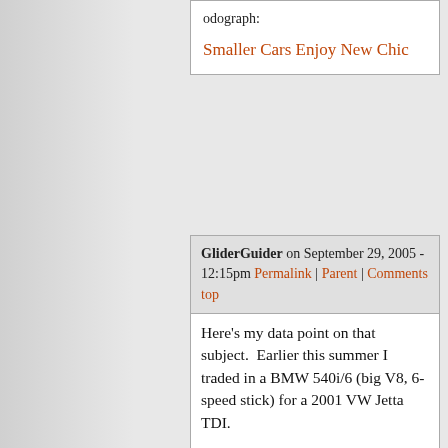odograph:
Smaller Cars Enjoy New Chic
GliderGuider on September 29, 2005 - 12:15pm Permalink | Parent | Comments top
Here's my data point on that subject.  Earlier this summer I traded in a BMW 540i/6 (big V8, 6-speed stick) for a 2001 VW Jetta TDI.

The reasons were purely fuel type and efficiency.  I get twice the mileage I did on my Bimmer, and the day I took delivery of the VW the first biodiesel pump